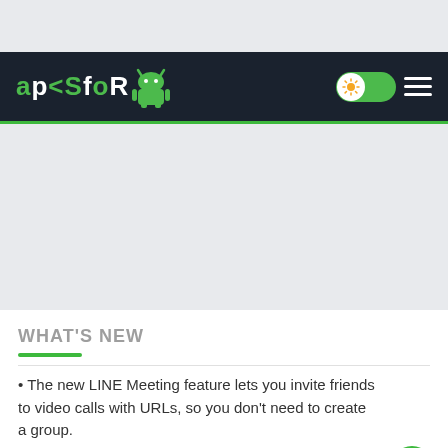[Figure (screenshot): Top grey banner area of a mobile website]
apksfor (Android robot logo) - navigation bar with toggle switch and hamburger menu
[Figure (other): Grey advertisement or content placeholder area]
WHAT'S NEW
• The new LINE Meeting feature lets you invite friends to video calls with URLs, so you don't need to create a group.
• We improved the video call feature.